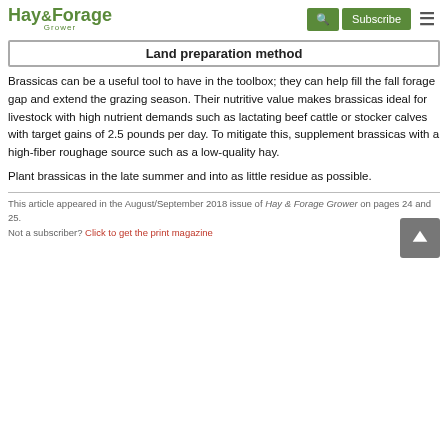Hay & Forage Grower | Subscribe
Land preparation method
Brassicas can be a useful tool to have in the toolbox; they can help fill the fall forage gap and extend the grazing season. Their nutritive value makes brassicas ideal for livestock with high nutrient demands such as lactating beef cattle or stocker calves with target gains of 2.5 pounds per day. To mitigate this, supplement brassicas with a high-fiber roughage source such as a low-quality hay.
Plant brassicas in the late summer and into as little residue as possible.
This article appeared in the August/September 2018 issue of Hay & Forage Grower on pages 24 and 25.
Not a subscriber? Click to get the print magazine